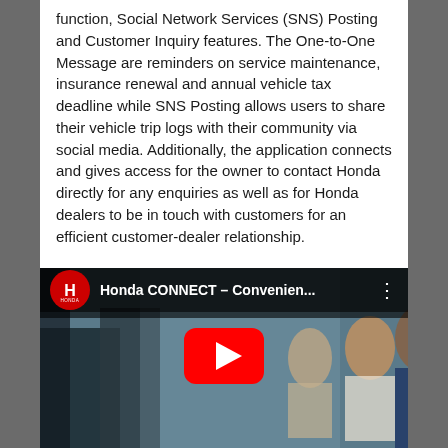function, Social Network Services (SNS) Posting and Customer Inquiry features. The One-to-One Message are reminders on service maintenance, insurance renewal and annual vehicle tax deadline while SNS Posting allows users to share their vehicle trip logs with their community via social media. Additionally, the application connects and gives access for the owner to contact Honda directly for any enquiries as well as for Honda dealers to be in touch with customers for an efficient customer-dealer relationship.
[Figure (screenshot): YouTube video thumbnail showing Honda CONNECT – Convenien... with people standing outdoors. The video overlay shows the Honda logo, video title, and a red YouTube play button in the center.]